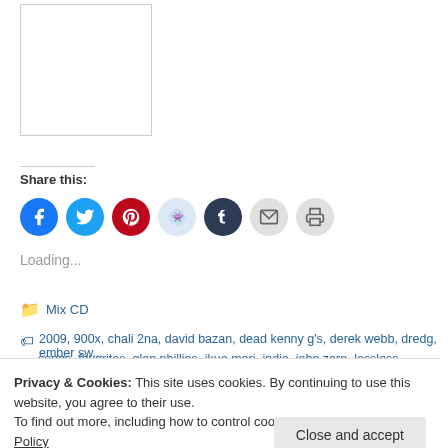[Figure (other): White rectangle placeholder image with thin gray border]
Share this:
[Figure (infographic): Row of social media share icons: Facebook (blue), Twitter (cyan), Pinterest (red), Reddit (light blue), Tumblr (dark navy), Email (gray), Print (gray)]
Loading...
Mix CD
2009, 900x, chali 2na, david bazan, dead kenny g's, derek webb, dredg, ember sw... songs, favorites, glen phillips, ikue mori, indie, john zorn, lossless, Madeleine Peyn...
Privacy & Cookies: This site uses cookies. By continuing to use this website, you agree to their use.
To find out more, including how to control cookies, see here: Cookie Policy
Close and accept